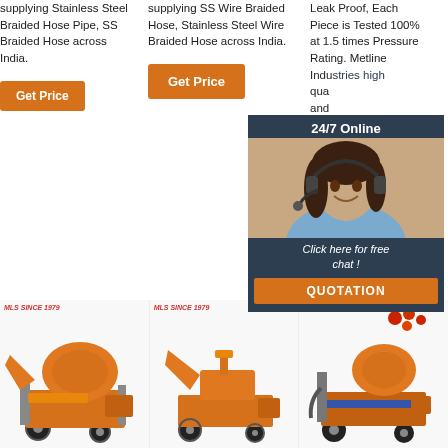supplying Stainless Steel Braided Hose Pipe, SS Braided Hose across India.
Get Price
supplying SS Wire Braided Hose, Stainless Steel Wire Braided Hose across India.
Get Price
Leak Proof, Each Piece is Tested 100% at 1.5 times Pressure Rating. Metline Industries high quality... braided... a wide... cond...
[Figure (infographic): 24/7 Online chat support widget with woman wearing headset and 'Click here for free chat!' text and QUOTATION button]
Get Price
[Figure (photo): Orange construction concrete mixer machine - product 1]
[Figure (photo): Orange construction machine - product 2]
[Figure (photo): Orange concrete mixer/pump machine - product 3]